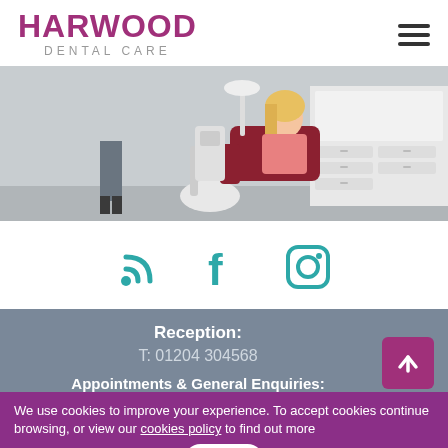[Figure (logo): Harwood Dental Care logo with hamburger menu icon]
[Figure (photo): Dental clinic interior with patient in dental chair and dentist standing]
[Figure (infographic): Social media icons: RSS feed, Facebook, Instagram in teal color]
Reception:
T: 01204 304568
Appointments & General Enquiries:
We use cookies to improve your experience. To accept cookies continue browsing, or view our cookies policy to find out more